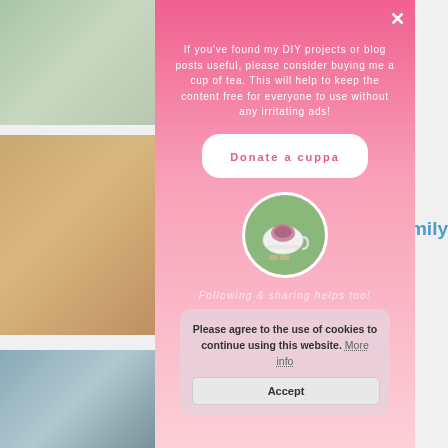[Figure (screenshot): Background photos on left side: room/furniture photo, red bicycle with hay, kitchen items with blue plate and coffee container]
[Figure (screenshot): Pink gradient modal popup with close button (X), donation request text, donate button, tea cup image, sharing text, and cookie consent box]
If you've found my DIY projects or blog posts useful, please consider buying me a cup of tea. This will help to keep the content free for everyone to use without any irritating ads!
Donate a cuppa
Following & sharing helps too!
Please agree to the use of cookies to continue using this website. More info
Accept